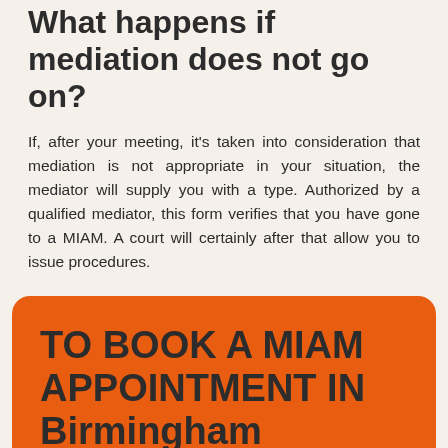What happens if mediation does not go on?
If, after your meeting, it's taken into consideration that mediation is not appropriate in your situation, the mediator will supply you with a type. Authorized by a qualified mediator, this form verifies that you have gone to a MIAM. A court will certainly after that allow you to issue procedures.
TO BOOK A MIAM APPOINTMENT IN Birmingham